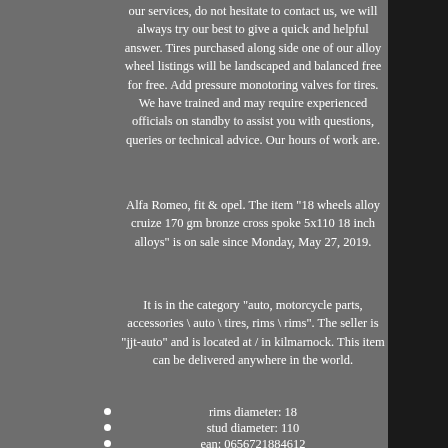our services, do not hesitate to contact us, we will always try our best to give a quick and helpful answer. Tires purchased along side one of our alloy wheel listings will be landscaped and balanced free for free. Add pressure monotoring valves for tires. We have trained and may require experienced officials on standby to assist you with questions, queries or technical advice. Our hours of work are.
Alfa Romeo, fit & opel. The item "18 wheels alloy cruize 170 gm bronze cross spoke 5x110 18 inch alloys" is on sale since Monday, May 27, 2019.
It is in the category "auto, motorcycle parts, accessories \ auto \ tires, rims \ rims". The seller is "jjt-auto" and is located at / in kilmarnock. This item can be delivered anywhere in the world.
rims diameter: 18
stud diameter: 110
ean: 0656721884612
compatible brand: alfa romeo, compatible with & amp; Opel
Rim width: 8d